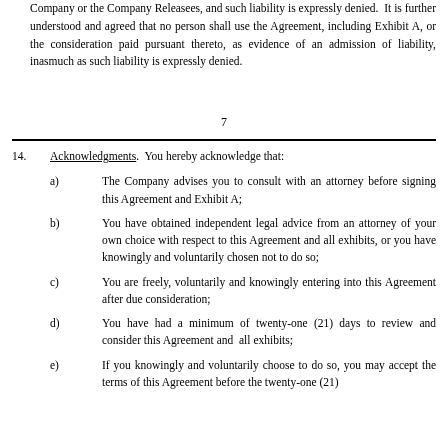Company or the Company Releasees, and such liability is expressly denied.  It is further understood and agreed that no person shall use the Agreement, including Exhibit A, or the consideration paid pursuant thereto, as evidence of an admission of liability, inasmuch as such liability is expressly denied.
7
14.  Acknowledgments.  You hereby acknowledge that:
a)   The Company advises you to consult with an attorney before signing this Agreement and Exhibit A;
b)   You have obtained independent legal advice from an attorney of your own choice with respect to this Agreement and all exhibits, or you have knowingly and voluntarily chosen not to do so;
c)   You are freely, voluntarily and knowingly entering into this Agreement after due consideration;
d)   You have had a minimum of twenty-one (21) days to review and consider this Agreement and  all exhibits;
e)   If you knowingly and voluntarily choose to do so, you may accept the terms of this Agreement before the twenty-one (21)